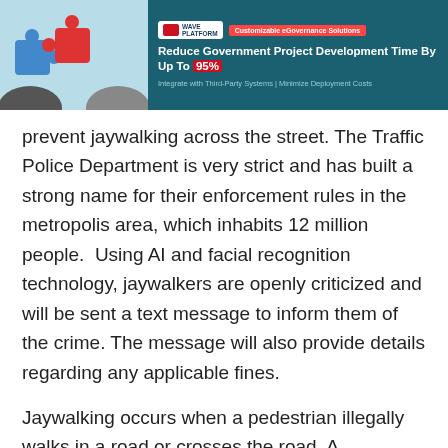[Figure (other): Advertisement banner for a government platform with puzzle pieces imagery and two hands. Text: 'Customizable eGovernance Solutions', 'Reduce Government Project Development Time By Up To 95%', 'Integrate with Third-Party Systems | Minimize Deployment Costs']
prevent jaywalking across the street. The Traffic Police Department is very strict and has built a strong name for their enforcement rules in the metropolis area, which inhabits 12 million people. Using AI and facial recognition technology, jaywalkers are openly criticized and will be sent a text message to inform them of the crime. The message will also provide details regarding any applicable fines.
Jaywalking occurs when a pedestrian illegally walks in a road or crosses the road. A Shenzhen based AI firm helped the police to implement the biometrics